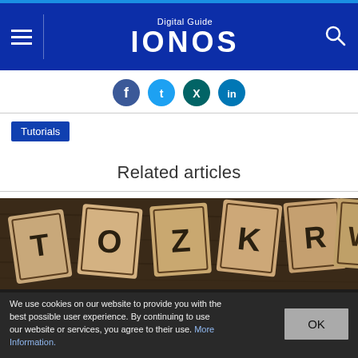Digital Guide IONOS
[Figure (screenshot): Social media share icons: Facebook, Twitter, Xing, LinkedIn]
Tutorials
Related articles
[Figure (photo): Wooden letter blocks/stamps arranged on a dark surface, showing letters T, O, Z, K, R, W]
We use cookies on our website to provide you with the best possible user experience. By continuing to use our website or services, you agree to their use. More Information.